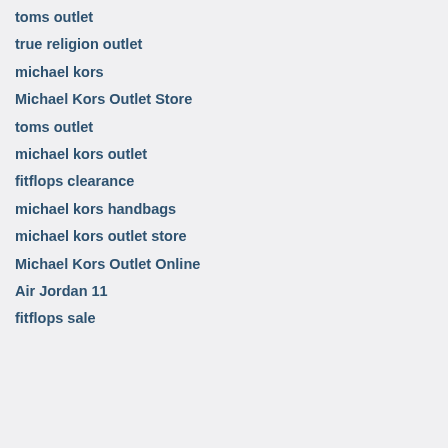toms outlet
true religion outlet
michael kors
Michael Kors Outlet Store
toms outlet
michael kors outlet
fitflops clearance
michael kors handbags
michael kors outlet store
Michael Kors Outlet Online
Air Jordan 11
fitflops sale